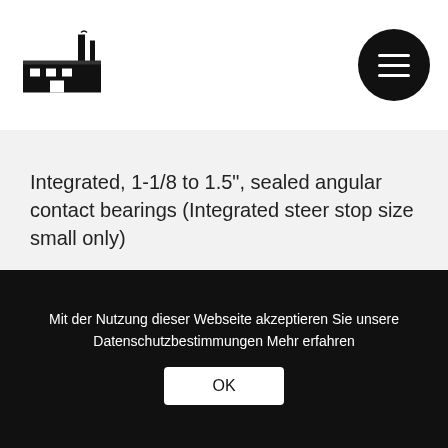[Logo - factory building icon] [Menu button]
Integrated, 1-1/8 to 1.5", sealed angular contact bearings (Integrated steer stop size small only)
Brakes
Mit der Nutzung dieser Webseite akzeptieren Sie unsere Datenschutzbestimmungen Mehr erfahren
OK